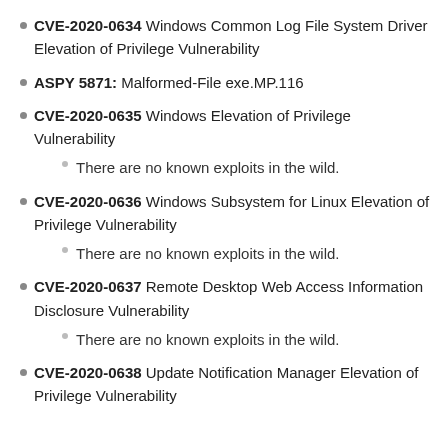CVE-2020-0634 Windows Common Log File System Driver Elevation of Privilege Vulnerability
ASPY 5871: Malformed-File exe.MP.116
CVE-2020-0635 Windows Elevation of Privilege Vulnerability
There are no known exploits in the wild.
CVE-2020-0636 Windows Subsystem for Linux Elevation of Privilege Vulnerability
There are no known exploits in the wild.
CVE-2020-0637 Remote Desktop Web Access Information Disclosure Vulnerability
There are no known exploits in the wild.
CVE-2020-0638 Update Notification Manager Elevation of Privilege Vulnerability